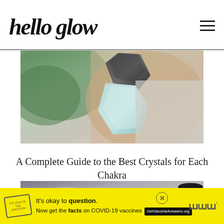hello glow
[Figure (photo): Close-up photo of a person's neck/shoulder area with crystals placed on the skin — a dark black crystal at top and a light blue/teal crystal below it, with green foliage in background]
A Complete Guide to the Best Crystals for Each Chakra
[Figure (photo): Overhead shot of bowls with toppings — appears to be acai or smoothie bowls with berries and garnishes, with a dark cup in background]
It's okay to question. Now get the facts on COVID-19 vaccines GetVaccineAnswers.org